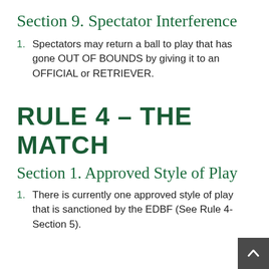Section 9. Spectator Interference
Spectators may return a ball to play that has gone OUT OF BOUNDS by giving it to an OFFICIAL or RETRIEVER.
RULE 4 – THE MATCH
Section 1. Approved Style of Play
There is currently one approved style of play that is sanctioned by the EDBF (See Rule 4-Section 5).